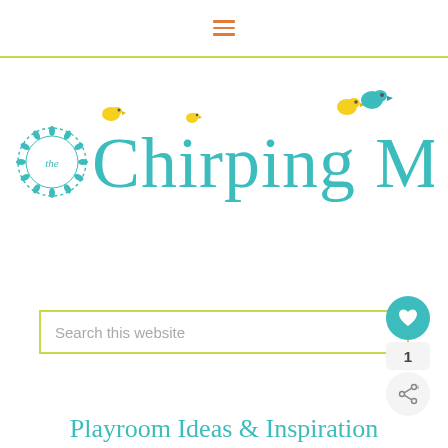≡
[Figure (logo): The Chirping Moms logo with teal text and yellow bird illustrations]
[Figure (screenshot): Search this website input box with yellow-green border]
Playroom Ideas & Inspiration